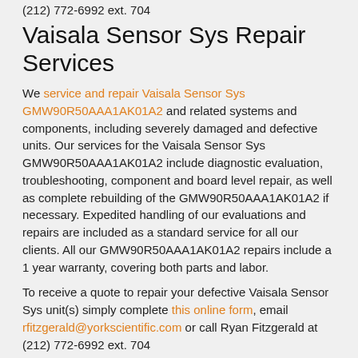(212) 772-6992 ext. 704
Vaisala Sensor Sys Repair Services
We service and repair Vaisala Sensor Sys GMW90R50AAA1AK01A2 and related systems and components, including severely damaged and defective units. Our services for the Vaisala Sensor Sys GMW90R50AAA1AK01A2 include diagnostic evaluation, troubleshooting, component and board level repair, as well as complete rebuilding of the GMW90R50AAA1AK01A2 if necessary. Expedited handling of our evaluations and repairs are included as a standard service for all our clients. All our GMW90R50AAA1AK01A2 repairs include a 1 year warranty, covering both parts and labor.
To receive a quote to repair your defective Vaisala Sensor Sys unit(s) simply complete this online form, email rfitzgerald@yorkscientific.com or call Ryan Fitzgerald at (212) 772-6992 ext. 704
How to Get Help